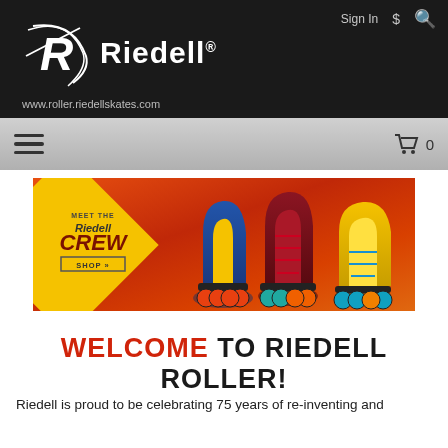Riedell® — www.roller.riedellskates.com — Sign In $ [search]
[Figure (screenshot): Riedell roller skates promotional banner: yellow diamond shape with 'MEET THE Riedell CREW SHOP»' text on left, three colorful roller skates (blue, red/maroon, yellow) on orange/red gradient background]
WELCOME TO RIEDELL ROLLER!
Riedell is proud to be celebrating 75 years of re-inventing and